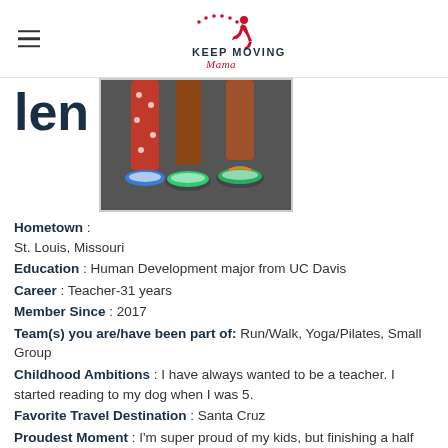Keep Moving Mama
[Figure (photo): Cropped photo showing legs and feet of runners wearing running shoes on a dark surface, with colorful leggings visible.]
len
Hometown : St. Louis, Missouri
Education : Human Development major from UC Davis
Career : Teacher-31 years
Member Since : 2017
Team(s) you are/have been part of: Run/Walk, Yoga/Pilates, Small Group
Childhood Ambitions : I have always wanted to be a teacher. I started reading to my dog when I was 5.
Favorite Travel Destination : Santa Cruz
Proudest Moment : I'm super proud of my kids, but finishing a half marathon was the best thing I ever did for myself!